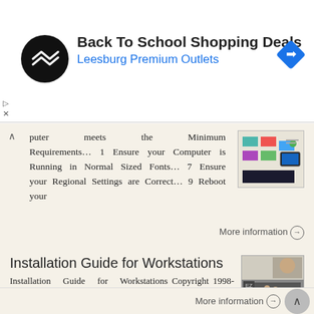[Figure (other): Advertisement banner for Back To School Shopping Deals at Leesburg Premium Outlets with circular logo and navigation diamond icon]
puter meets the Minimum Requirements… 1 Ensure your Computer is Running in Normal Sized Fonts… 7 Ensure your Regional Settings are Correct… 9 Reboot your
More information →
Installation Guide for Workstations
Installation Guide for Workstations Copyright 1998-2005, E-Z Data, Inc. All Rights Reserved. No part of this documentation may be copied, reproduced, or translated in any form without the prior written
More information →